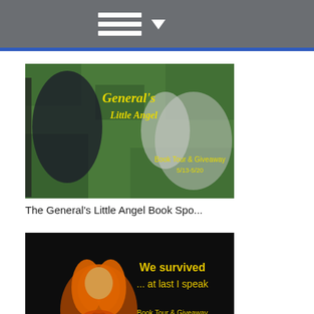Navigation menu header bar
[Figure (illustration): The General's Little Angel book spotlight and giveaway banner image with woman in costume and angel wings on camouflage background]
The General's Little Angel Book Spo...
[Figure (illustration): We Survived...At Last I Speak book tour and giveaway banner image showing glowing figure with orange hair on dark background, dates 3/29 - 4/20]
We Survived...At Last I Speak Book ...
[Figure (photo): Partial third book cover image at bottom, dark background]